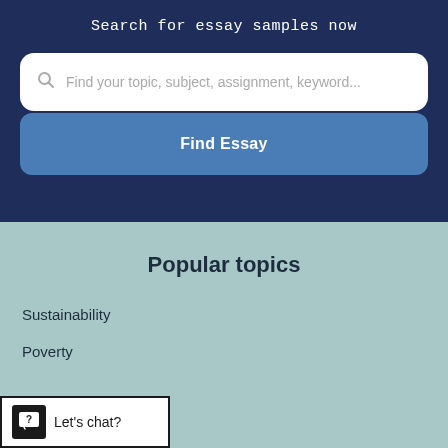Search for essay samples now
Find your topic, subject, assignment, keyword...
Find Essay
Popular topics
Sustainability
Poverty
Let's chat?